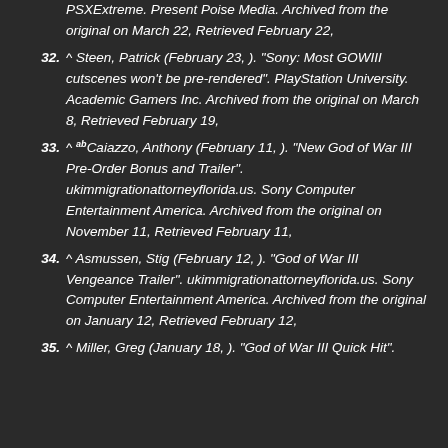PSXExtreme. Present Poise Media. Archived from the original on March 22, Retrieved February 22,
32. ^ Steen, Patrick (February 23, ). "Sony: Most GOWIII cutscenes won't be pre-rendered". PlayStation University. Academic Gamers Inc. Archived from the original on March 8, Retrieved February 19,
33. ^ ab Caiazzo, Anthony (February 11, ). "New God of War III Pre-Order Bonus and Trailer". ukimmigrationattorneyflorida.us. Sony Computer Entertainment America. Archived from the original on November 11, Retrieved February 11,
34. ^ Asmussen, Stig (February 12, ). "God of War III Vengeance Trailer". ukimmigrationattorneyflorida.us. Sony Computer Entertainment America. Archived from the original on January 12, Retrieved February 12,
35. ^ Miller, Greg (January 18, ). "God of War III Quick Hit".